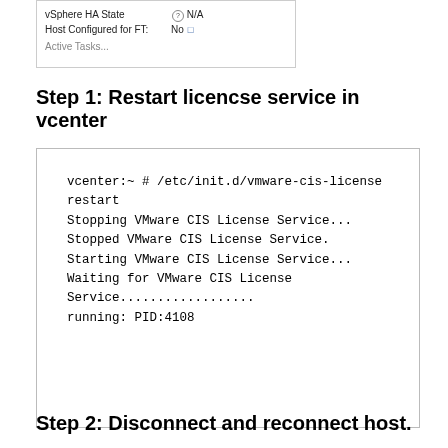[Figure (screenshot): Screenshot showing vSphere HA State: N/A, Host Configured for FT: No, with partial text cut off at bottom (Active Tasks...)]
Step 1: Restart licencse service in vcenter
vcenter:~ # /etc/init.d/vmware-cis-license restart
Stopping VMware CIS License Service...
Stopped VMware CIS License Service.
Starting VMware CIS License Service...
Waiting for VMware CIS License Service...................
running: PID:4108
Step 2: Disconnect and reconnect host.